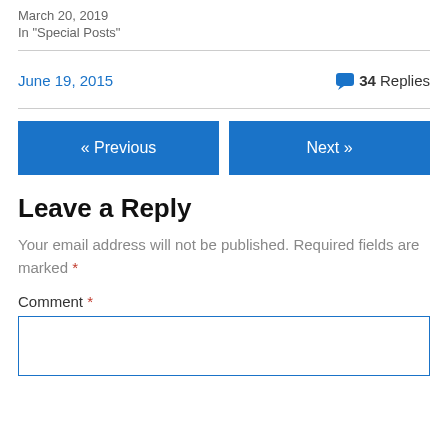March 20, 2019
In "Special Posts"
June 19, 2015
💬 34 Replies
« Previous
Next »
Leave a Reply
Your email address will not be published. Required fields are marked *
Comment *